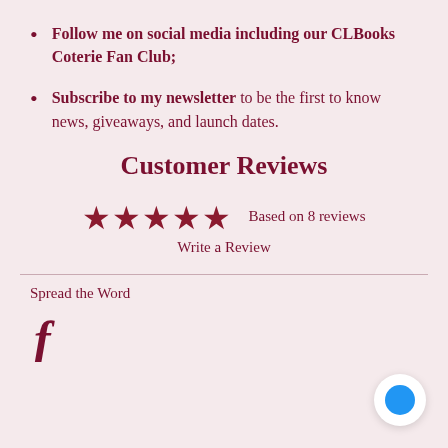Follow me on social media including our CLBooks Coterie Fan Club;
Subscribe to my newsletter to be the first to know news, giveaways, and launch dates.
Customer Reviews
[Figure (other): Five filled star icons representing a 5-star rating, followed by text 'Based on 8 reviews' and 'Write a Review']
Spread the Word
[Figure (logo): Facebook 'f' icon]